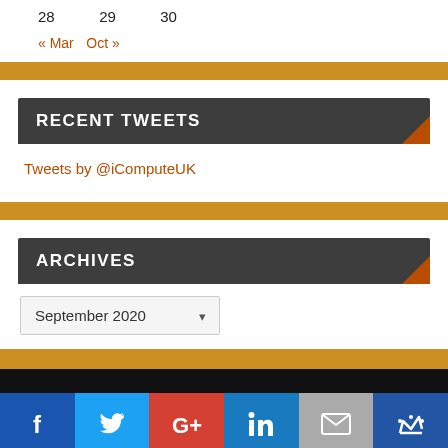28   29   30
« Mar   Oct »
RECENT TWEETS
Tweets by @iComputeUK
ARCHIVES
September 2020
[Figure (infographic): Social media icon bar at bottom: Facebook (blue), Twitter (light blue), Google+ (red), LinkedIn (blue), Mail (grey), Crown (dark blue)]